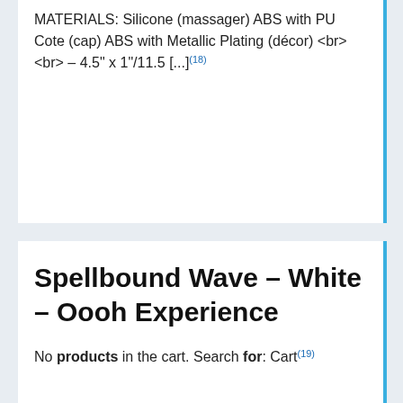MATERIALS: Silicone (massager) ABS with PU Cote (cap) ABS with Metallic Plating (décor) <br><br> – 4.5" x 1"/11.5 [...](18)
Spellbound Wave – White – Oooh Experience
No products in the cart. Search for: Cart(19)
Spellbound Wave – White – Uheaven